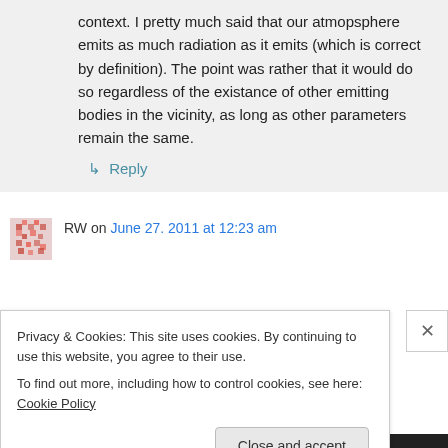context. I pretty much said that our atmopsphere emits as much radiation as it emits (which is correct by definition). The point was rather that it would do so regardless of the existance of other emitting bodies in the vicinity, as long as other parameters remain the same.
↳ Reply
RW on June 27. 2011 at 12:23 am
Privacy & Cookies: This site uses cookies. By continuing to use this website, you agree to their use.
To find out more, including how to control cookies, see here: Cookie Policy
Close and accept